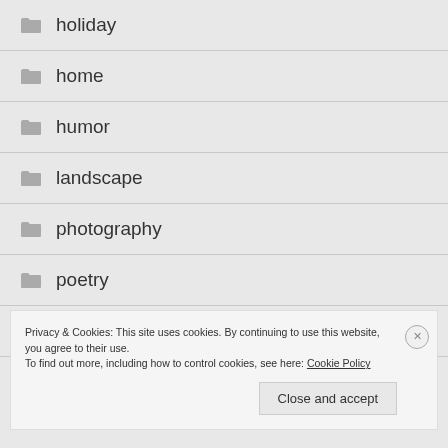holiday
home
humor
landscape
photography
poetry
political
Privacy & Cookies: This site uses cookies. By continuing to use this website, you agree to their use.
To find out more, including how to control cookies, see here: Cookie Policy
Close and accept